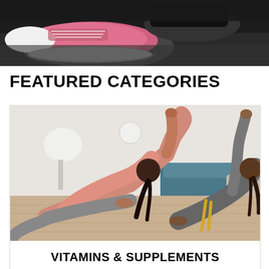[Figure (photo): Close-up photo of pink and grey athletic running shoes on a dark surface]
FEATURED CATEGORIES
[Figure (photo): Two people doing side plank exercises in a living room, one wearing pink top and grey leggings, one wearing grey shirt]
VITAMINS & SUPPLEMENTS